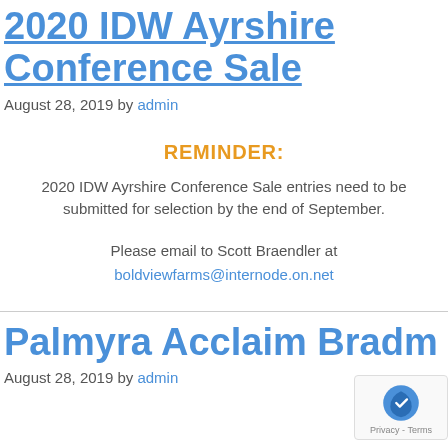2020 IDW Ayrshire Conference Sale
August 28, 2019 by admin
REMINDER:
2020 IDW Ayrshire Conference Sale entries need to be submitted for selection by the end of September.
Please email to Scott Braendler at boldviewfarms@internode.on.net
Palmyra Acclaim Bradm
August 28, 2019 by admin